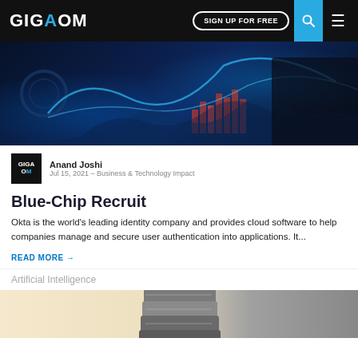GIGAOM | SIGN UP FOR FREE
[Figure (photo): Dark blue technology banner image with digital charts, glowing lines, and a hand interacting with a holographic interface]
Anand Joshi
Jul 15, 2021 – Business & Technology Impact
Blue-Chip Recruit
Okta is the world's leading identity company and provides cloud software to help companies manage and secure user authentication into applications. It...
READ MORE →
Artificial Intelligence
[Figure (photo): Partial view of a server/hardware image on a warm beige background]